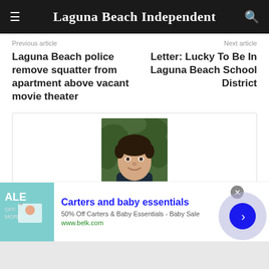Laguna Beach Independent
Previous article
Next article
Laguna Beach police remove squatter from apartment above vacant movie theater
Letter: Lucky To Be In Laguna Beach School District
[Figure (photo): Headshot of a young man smiling, wearing a dark jacket, with green foliage in background]
Carters and baby essentials
50% Off Carters & Baby Essentials - Baby Sale
www.belk.com